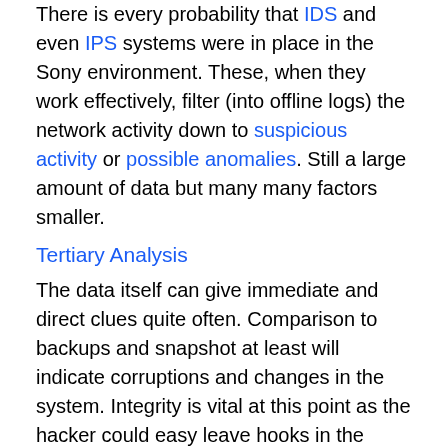There is every probability that IDS and even IPS systems were in place in the Sony environment. These, when they work effectively, filter (into offline logs) the network activity down to suspicious activity or possible anomalies. Still a large amount of data but many many factors smaller.
Tertiary Analysis
The data itself can give immediate and direct clues quite often. Comparison to backups and snapshot at least will indicate corruptions and changes in the system. Integrity is vital at this point as the hacker could easy leave hooks in the system. Indeed, preventing this 100% is nearly impossible if the underlying OS/Hardware/System is prone to change, for example the leaving of a Rootkit.
Plugging the hole
At some point you must stop the analysis and start ensuring the renewed/updated system is strengthened at least to the point that the same attack cannot succeed in